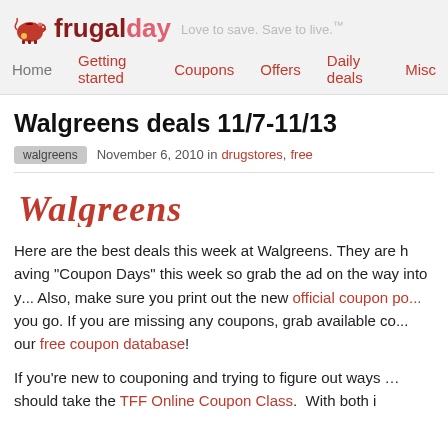frugalday — Love to save. Save to live.™
Home | Getting started | Coupons | Offers | Daily deals | Misc
Walgreens deals 11/7-11/13
walgreens   November 6, 2010 in drugstores, free
[Figure (logo): Walgreens script logo in red]
Here are the best deals this week at Walgreens. They are having "Coupon Days" this week so grab the ad on the way into y... Also, make sure you print out the new official coupon po... you go. If you are missing any coupons, grab available co... our free coupon database!
If you're new to couponing and trying to figure out ways ... should take the TFF Online Coupon Class.  With both i